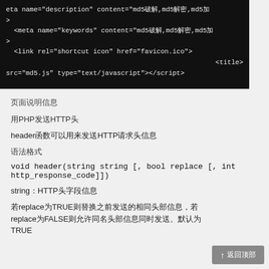[Figure (screenshot): Dark terminal/code screenshot showing HTML meta and script tags with Chinese characters and monospace font]
页面说明信息
用PHP发送HTTP头
header函数可以用来发送HTTP请求头信息
语法格式
void header(string string [, bool replace [, int http_response_code]])
string：HTTP头字段信息
若replace为TRUE则替换之前发送的相同头部信息，若replace为FALSE则允许同名头部信息同时发送。默认为TRUE